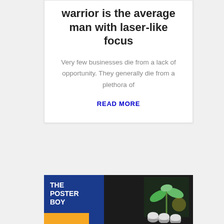The successful warrior is the average man with laser-like focus
Very few businesses die from a lack of opportunity. They generally die from a plethora of
READ MORE
[Figure (illustration): The Poster Boy branding card with blue background, orange triangle accent, bold white text 'THE POSTER BOY', and a plant growing from coins on the right side]